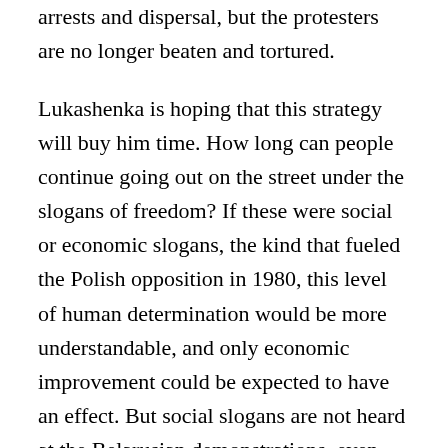arrests and dispersal, but the protesters are no longer beaten and tortured.
Lukashenka is hoping that this strategy will buy him time. How long can people continue going out on the street under the slogans of freedom? If these were social or economic slogans, the kind that fueled the Polish opposition in 1980, this level of human determination would be more understandable, and only economic improvement could be expected to have an effect. But social slogans are not heard at the Belarusian demonstrations, even among the workers. The miners striking in Saligorsk earn a